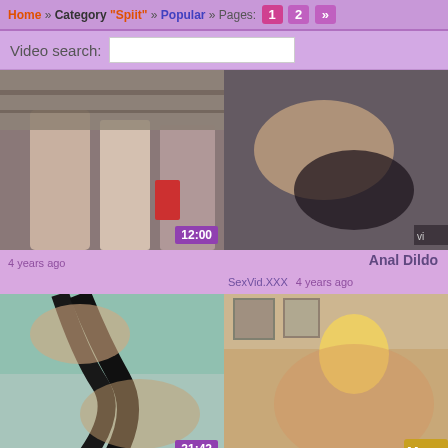Home » Category "Spiit" » Popular » Pages: 1 2 »
Video search:
[Figure (screenshot): Video thumbnail left top - group scene, duration 12:00]
[Figure (screenshot): Video thumbnail right top - partial view]
Anal Dildo
4 years ago    SexVid.XXX    4 years ago
[Figure (screenshot): Video thumbnail bottom left - close up scene, duration 21:42]
[Figure (screenshot): Video thumbnail bottom right - blonde woman scene]